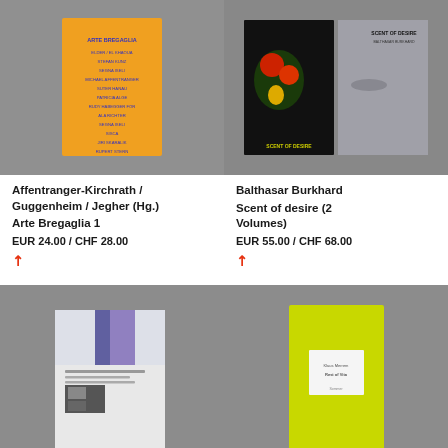[Figure (photo): Book cover - orange/yellow card with blue text listing multiple names, Arte Bregaglia 1]
Affentranger-Kirchrath / Guggenheim / Jegher (Hg.)
Arte Bregaglia 1
EUR 24.00 / CHF 28.00
[Figure (photo): Two book covers side by side - Scent of Desire by Balthasar Burkhard, dark covers with flowers and face]
Balthasar Burkhard
Scent of desire (2 Volumes)
EUR 55.00 / CHF 68.00
[Figure (photo): Book with white/grey cover showing abstract images]
[Figure (photo): Yellow/green book cover with small white label]